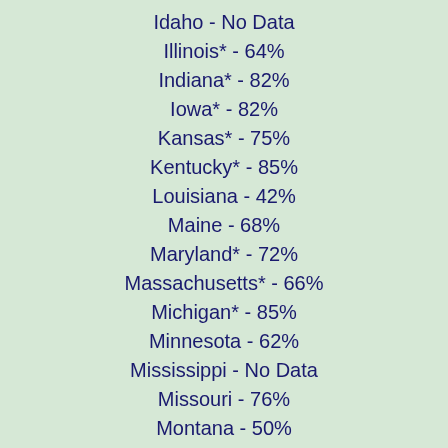Idaho - No Data
Illinois* - 64%
Indiana* - 82%
Iowa* - 82%
Kansas* - 75%
Kentucky* - 85%
Louisiana - 42%
Maine - 68%
Maryland* - 72%
Massachusetts* - 66%
Michigan* - 85%
Minnesota - 62%
Mississippi - No Data
Missouri - 76%
Montana - 50%
Nebraska* - 83%
Nevada - 11%
New Hampshire* - 76%
New Jersey* - 66%